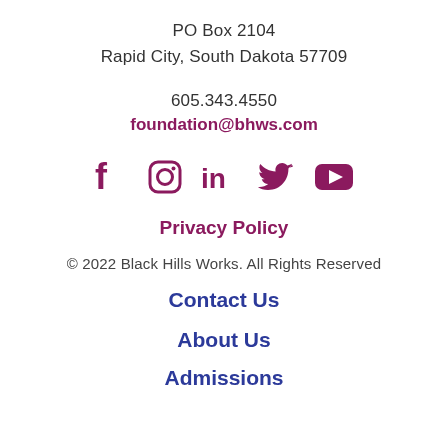PO Box 2104
Rapid City, South Dakota 57709
605.343.4550
foundation@bhws.com
[Figure (other): Social media icons: Facebook, Instagram, LinkedIn, Twitter, YouTube in purple/maroon color]
Privacy Policy
© 2022 Black Hills Works. All Rights Reserved
Contact Us
About Us
Admissions